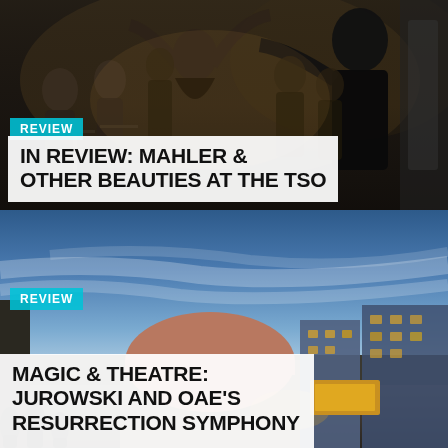[Figure (photo): Orchestra musicians performing on stage with conductor visible, photographed from side angle in concert hall with dark background]
REVIEW
IN REVIEW: MAHLER & OTHER BEAUTIES AT THE TSO
[Figure (photo): Concert venue exterior at dusk/night showing a building with a distinctive dome/curved roof structure against a blue twilight sky, with illuminated buildings visible]
REVIEW
MAGIC & THEATRE: JUROWSKI AND OAE'S RESURRECTION SYMPHONY